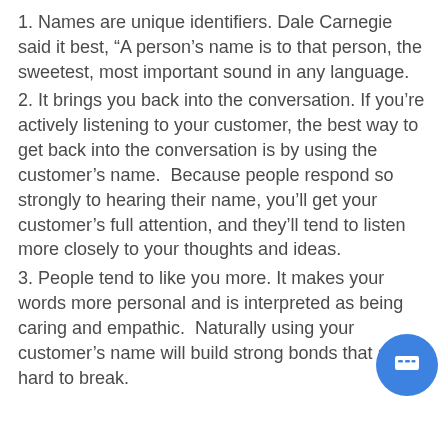1. Names are unique identifiers. Dale Carnegie said it best, “A person’s name is to that person, the sweetest, most important sound in any language.
2. It brings you back into the conversation. If you’re actively listening to your customer, the best way to get back into the conversation is by using the customer’s name.  Because people respond so strongly to hearing their name, you’ll get your customer’s full attention, and they’ll tend to listen more closely to your thoughts and ideas.
3. People tend to like you more. It makes your words more personal and is interpreted as being caring and empathic.  Naturally using your customer’s name will build strong bonds that are hard to break.